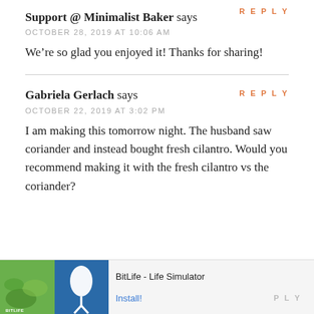Support @ Minimalist Baker says
OCTOBER 28, 2019 AT 10:06 AM
We’re so glad you enjoyed it! Thanks for sharing!
Gabriela Gerlach says
OCTOBER 22, 2019 AT 3:02 PM
I am making this tomorrow night. The husband saw coriander and instead bought fresh cilantro. Would you recommend making it with the fresh cilantro vs the coriander?
[Figure (screenshot): BitLife - Life Simulator advertisement banner with app icon and Install button]